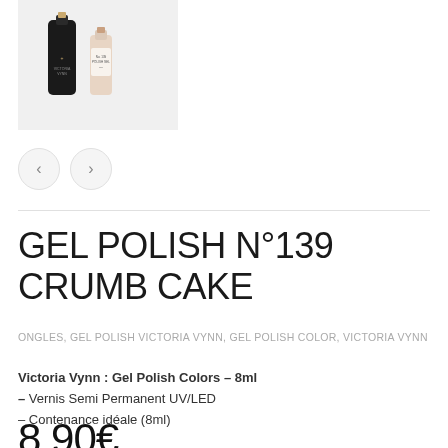[Figure (photo): Product photo showing two nail polish bottles - one dark black bottle and one nude/beige swatch, Victoria Vynn Gel Polish N°139 Crumb Cake]
GEL POLISH N°139 CRUMB CAKE
ONGLES, GEL POLISH VICTORIA VYNN, GEL POLISH COLOR, VICTORIA VYNN
Victoria Vynn : Gel Polish Colors – 8ml – Vernis Semi Permanent UV/LED – Contenance idéale (8ml)
8.90€